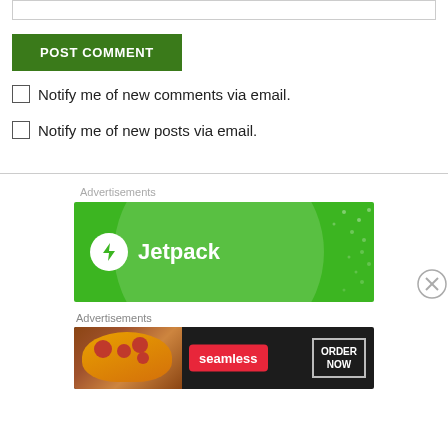(input border area)
POST COMMENT
Notify me of new comments via email.
Notify me of new posts via email.
Advertisements
[Figure (illustration): Jetpack advertisement banner with green background, circular Jetpack logo icon with lightning bolt, and 'Jetpack' text]
Advertisements
[Figure (illustration): Seamless food delivery advertisement banner with dark background, pizza image on left, red Seamless logo button, and 'ORDER NOW' bordered button on right]